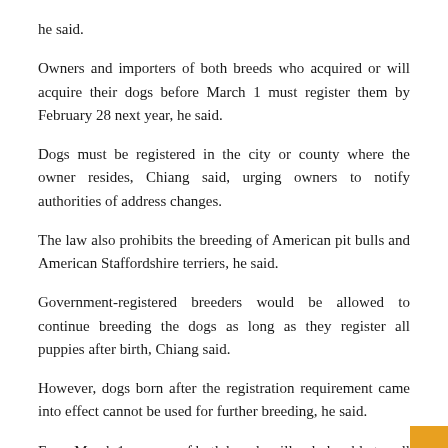he said.
Owners and importers of both breeds who acquired or will acquire their dogs before March 1 must register them by February 28 next year, he said.
Dogs must be registered in the city or county where the owner resides, Chiang said, urging owners to notify authorities of address changes.
The law also prohibits the breeding of American pit bulls and American Staffordshire terriers, he said.
Government-registered breeders would be allowed to continue breeding the dogs as long as they register all puppies after birth, Chiang said.
However, dogs born after the registration requirement came into effect cannot be used for further breeding, he said.
From March 1, owners of both breeds will only be able to sell their dogs to people with experience owning dogs of the respective breed, Chiang said.